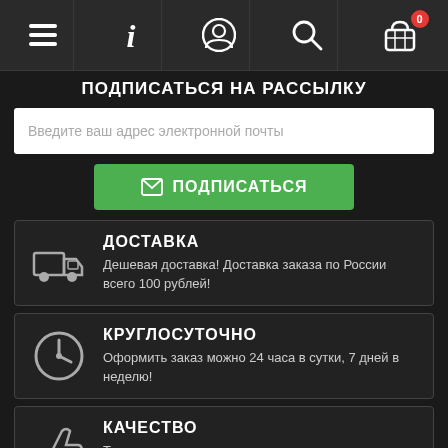Navigation bar with menu, info, account, search, cart icons
ПОДПИСАТЬСЯ НА РАССЫЛКУ
Введите ваш адрес электронной почты
✉ ПОДПИСАТЬСЯ
ДОСТАВКА
Дешевая доставка! Доставка заказа по России всего 100 рублей!
КРУГЛОСУТОЧНО
Оформить заказ можно 24 часа в сутки, 7 дней в неделю!
КАЧЕСТВО
Только оригинальные игральные карты от производителя!